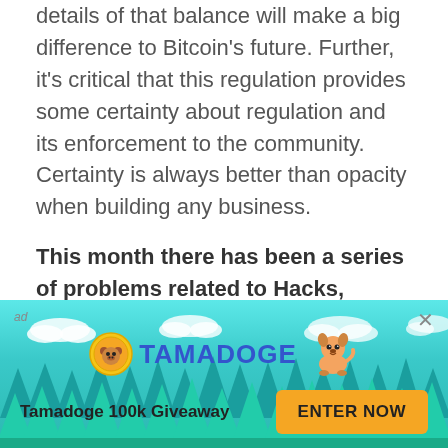details of that balance will make a big difference to Bitcoin's future. Further, it's critical that this regulation provides some certainty about regulation and its enforcement to the community. Certainty is always better than opacity when building any business.
This month there has been a series of problems related to Hacks, scams and frauds in the crypto currency scene. Unfortunately, this type of situation seems to be recurrent on the ecosystem. How do you think the ecosystem will react and develop
[Figure (infographic): Tamadoge advertisement banner with teal/cyan background, trees, clouds, Tamadoge coin logo, cartoon dog, text 'Tamadoge 100k Giveaway' and orange 'ENTER NOW' button. Labeled 'ad' with close X button.]